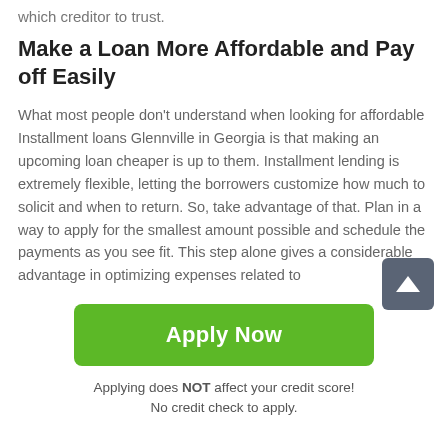which creditor to trust.
Make a Loan More Affordable and Pay off Easily
What most people don't understand when looking for affordable Installment loans Glennville in Georgia is that making an upcoming loan cheaper is up to them. Installment lending is extremely flexible, letting the borrowers customize how much to solicit and when to return. So, take advantage of that. Plan in a way to apply for the smallest amount possible and schedule the payments as you see fit. This step alone gives a considerable advantage in optimizing expenses related to
Apply Now
Applying does NOT affect your credit score!
No credit check to apply.